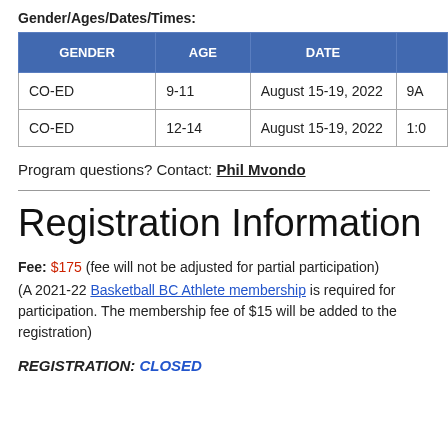Gender/Ages/Dates/Times:
| GENDER | AGE | DATE | TI… |
| --- | --- | --- | --- |
| CO-ED | 9-11 | August 15-19, 2022 | 9A… |
| CO-ED | 12-14 | August 15-19, 2022 | 1:0… |
Program questions? Contact: Phil Mvondo
Registration Information
Fee: $175 (fee will not be adjusted for partial participation)
(A 2021-22 Basketball BC Athlete membership is required for participation. The membership fee of $15 will be added to the registration)
REGISTRATION: CLOSED